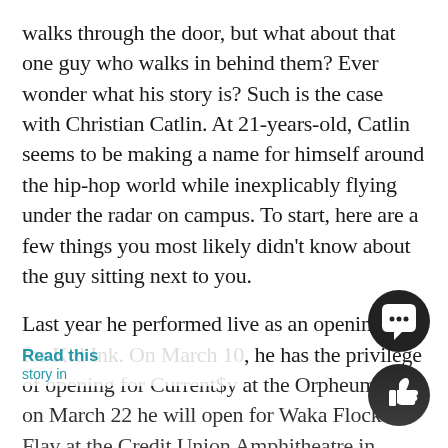walks through the door, but what about that one guy who walks in behind them? Ever wonder what his story is? Such is the case with Christian Catlin. At 21-years-old, Catlin seems to be making a name for himself around the hip-hop world while inexplicably flying under the radar on campus. To start, here are a few things you most likely didn't know about the guy sitting next to you.
Last year he performed live as an opening act for Kid Ink. On March 10, he has the privilege of opening for Current$y at the Orpheum and on March 22 he will open for Waka Flocka Flav at the Credit Union Amphitheatre in Tampa. Not bad for a guy whose first live performance was at the FGCU talent show last year. In addition, he has been featured on music blog sites such as Dat Piff, Indie Rap Blog and Underground Hip-Hop. These features include free streaming of